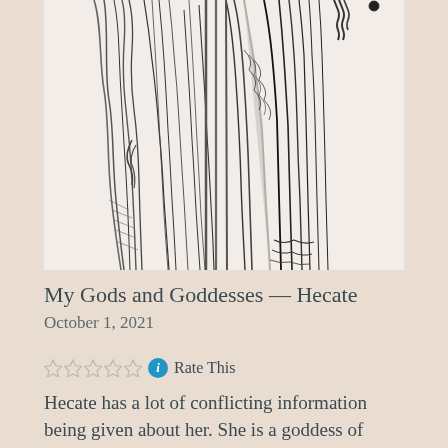[Figure (illustration): Black and white engraving illustration of Hecate, showing robed figures in classical Greek style, partially cropped at top]
My Gods and Goddesses — Hecate
October 1, 2021
Rate This
Hecate has a lot of conflicting information being given about her. She is a goddess of